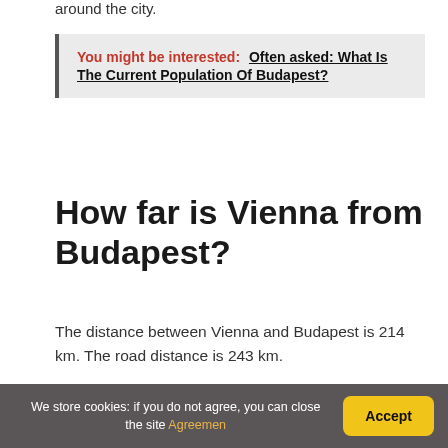around the city.
You might be interested:  Often asked: What Is The Current Population Of Budapest?
How far is Vienna from Budapest?
The distance between Vienna and Budapest is 214 km. The road distance is 243 km.
Is there a train from
We store cookies: if you do not agree, you can close the site Agreemen
Accept